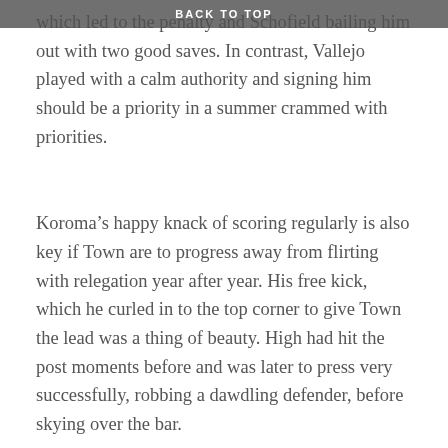BACK TO TOP
which led to the penalty and Schofield bailing him out with two good saves. In contrast, Vallejo played with a calm authority and signing him should be a priority in a summer crammed with priorities.
Koroma’s happy knack of scoring regularly is also key if Town are to progress away from flirting with relegation year after year. His free kick, which he curled in to the top corner to give Town the lead was a thing of beauty. High had hit the post moments before and was later to press very successfully, robbing a dawdling defender, before skying over the bar.
As ever, Town’s main problems were defensive. Hogg’s indiscretions were the main issue, though